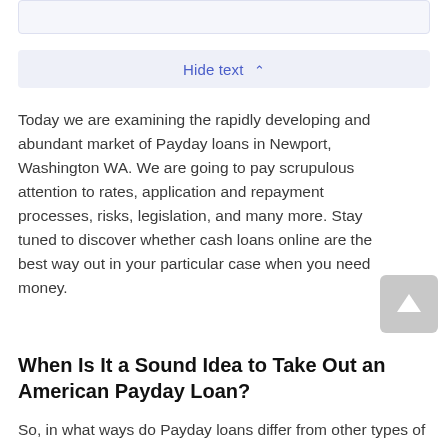Hide text ∧
Today we are examining the rapidly developing and abundant market of Payday loans in Newport, Washington WA. We are going to pay scrupulous attention to rates, application and repayment processes, risks, legislation, and many more. Stay tuned to discover whether cash loans online are the best way out in your particular case when you need money.
When Is It a Sound Idea to Take Out an American Payday Loan?
So, in what ways do Payday loans differ from other types of financial help from direct lenders? They presuppose using your vehicle Payday as a form of assurance that the